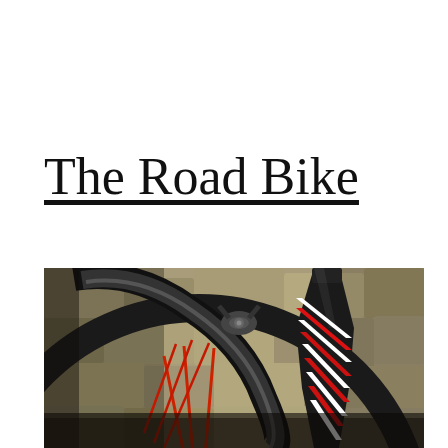The Road Bike
[Figure (photo): Close-up photo of a road bike front wheel and fork against a stone wall background. The bike has a black carbon fiber fork with red and white diagonal stripe markings, thin black tire on a dark rim with red spokes visible, and a brake caliper. The background is a blurred stone/rock wall.]